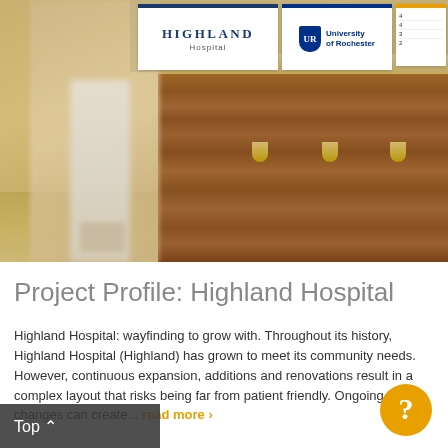[Figure (photo): Hospital corridor photo showing a person walking past a wooden reception desk/counter with Highland Hospital and University of Rochester signage mounted above.]
Project Profile: Highland Hospital
Highland Hospital: wayfinding to grow with. Throughout its history, Highland Hospital (Highland) has grown to meet its community needs. However, continuous expansion, additions and renovations result in a complex layout that risks being far from patient friendly. Ongoing changes can create... read more ›